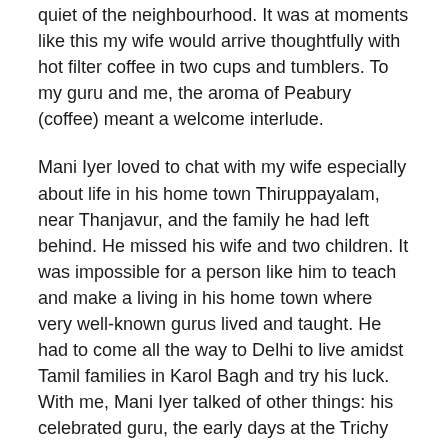quiet of the neighbourhood. It was at moments like this my wife would arrive thoughtfully with hot filter coffee in two cups and tumblers. To my guru and me, the aroma of Peabury (coffee) meant a welcome interlude.
Mani Iyer loved to chat with my wife especially about life in his home town Thiruppayalam, near Thanjavur, and the family he had left behind. He missed his wife and two children. It was impossible for a person like him to teach and make a living in his home town where very well-known gurus lived and taught. He had to come all the way to Delhi to live amidst Tamil families in Karol Bagh and try his luck. With me, Mani Iyer talked of other things: his celebrated guru, the early days at the Trichy All India Radio and about the unforgettable annual Thyagaraja Aaradhana festival at Thiruvayur, not far from his home town.
The classes continued, every alternate day, except for the two months during summer when my guru would travel south to his home town or when I had to go out of Delhi on official work. Then came a time when I fell sick. I was hospitalised. When I was discharged, I was advised rest for several weeks. All this meant long breaks from classes, which left me struggling to  proceed beyond the